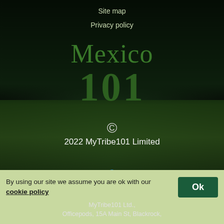Site map
Privacy policy
Mexico
101
© 2022 MyTribe101 Limited
[Figure (logo): Cyber Essentials certification badge — blue shield shape with white text 'CYBER ESSENTIALS' and a green checkmark leaf logo]
By using our site we assume you are ok with our cookie policy
MyTribe101 Ltd., Officepods, 15A Main St, Blackrock,